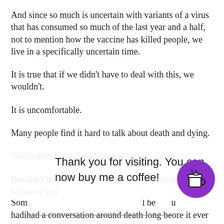And since so much is uncertain with variants of a virus that has consumed so much of the last year and a half, not to mention how the vaccine has killed people, we live in a specifically uncertain time.
It is true that if we didn't have to deal with this, we wouldn't.
It is uncomfortable.
Many people find it hard to talk about death and dying.
We'd rather leave it up to someone else.
But don't let fear stop you from truly connecting with someone you
Thank you for visiting. You can now buy me a coffee!
Som I be u hadhad a conversation around death long before it ever